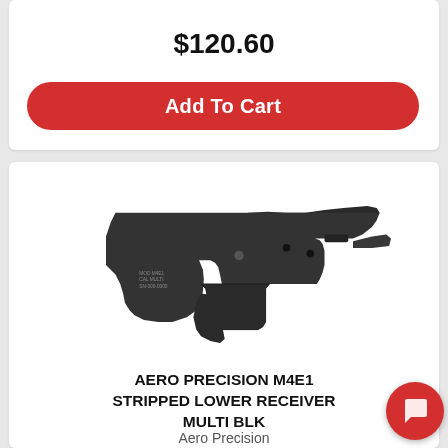$120.60
Add To Cart
[Figure (photo): Aero Precision M4E1 Stripped Lower Receiver in black/multi caliber configuration, shown at an angle against white background]
AERO PRECISION M4E1 STRIPPED LOWER RECEIVER MULTI BLK
Aero Precision
223 Remington